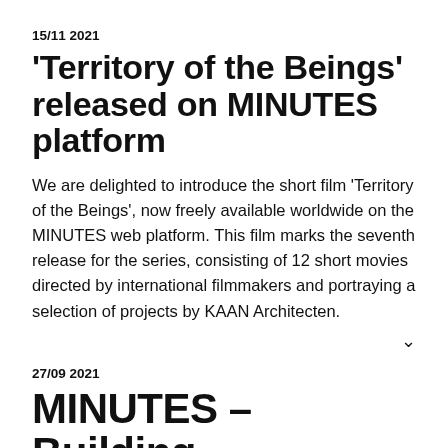15/11 2021
'Territory of the Beings' released on MINUTES platform
We are delighted to introduce the short film 'Territory of the Beings', now freely available worldwide on the MINUTES web platform. This film marks the seventh release for the series, consisting of 12 short movies directed by international filmmakers and portraying a selection of projects by KAAN Architecten.
27/09 2021
MINUTES – Building